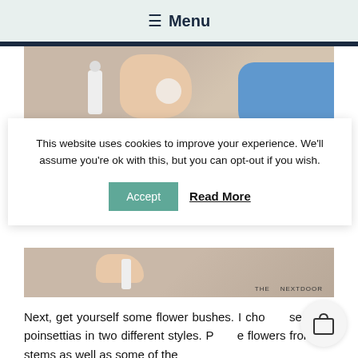≡ Menu
[Figure (photo): Top portion of a crafting photo showing a hand holding a glue bottle, a round cap, and a blue glue gun on a cardboard surface]
This website uses cookies to improve your experience. We'll assume you're ok with this, but you can opt-out if you wish.
Accept   Read More
[Figure (photo): Bottom portion of a crafting photo showing a hand with a glue bottle on cardboard, watermark reading THE NEXTDOOR]
Next, get yourself some flower bushes. I chose white poinsettias in two different styles. Pull the flowers from the stems as well as some of the